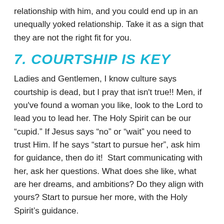relationship with him, and you could end up in an unequally yoked relationship. Take it as a sign that they are not the right fit for you.
7. COURTSHIP IS KEY
Ladies and Gentlemen, I know culture says courtship is dead, but I pray that isn't true!! Men, if you've found a woman you like, look to the Lord to lead you to lead her. The Holy Spirit can be our “cupid.” If Jesus says “no” or “wait” you need to trust Him. If he says “start to pursue her”, ask him for guidance, then do it!  Start communicating with her, ask her questions. What does she like, what are her dreams, and ambitions? Do they align with yours? Start to pursue her more, with the Holy Spirit’s guidance.
Ask her out on a date and be a Gentlemen. Things you should do on the date. Buy her flowers. Pick her up. Go right to her door. Open all the doors for her, including